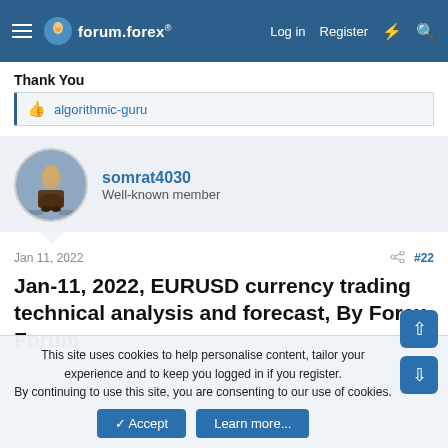forum.forex — Log in | Register
Thank You
👍 algorithmic-guru
somrat4030
Well-known member
Jan 11, 2022  #22
Jan-11, 2022, EURUSD currency trading technical analysis and forecast, By Forex Forum
This site uses cookies to help personalise content, tailor your experience and to keep you logged in if you register.
By continuing to use this site, you are consenting to our use of cookies.